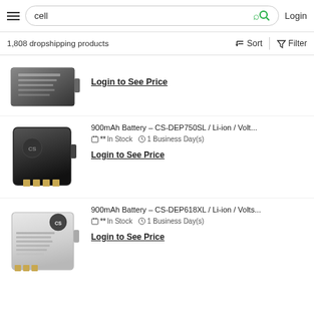cell — search bar with Login
1,808 dropshipping products
[Figure (photo): Product image of a cell phone battery (black, rectangular)]
Login to See Price
[Figure (photo): Product image of a black rectangular battery CS-DEP750SL with gold contacts]
900mAh Battery - CS-DEP750SL / Li-ion / Volt...
** In Stock   1 Business Day(s)
Login to See Price
[Figure (photo): Product image of a white/grey battery CS-DEP618XL with gold contacts]
900mAh Battery - CS-DEP618XL / Li-ion / Volts...
** In Stock   1 Business Day(s)
Login to See Price